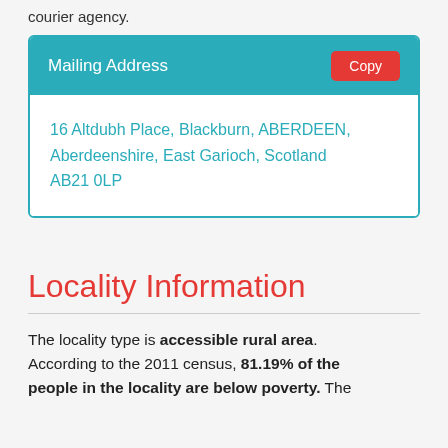courier agency.
Mailing Address
16 Altdubh Place, Blackburn, ABERDEEN, Aberdeenshire, East Garioch, Scotland AB21 0LP
Locality Information
The locality type is accessible rural area. According to the 2011 census, 81.19% of the people in the locality are below poverty. The